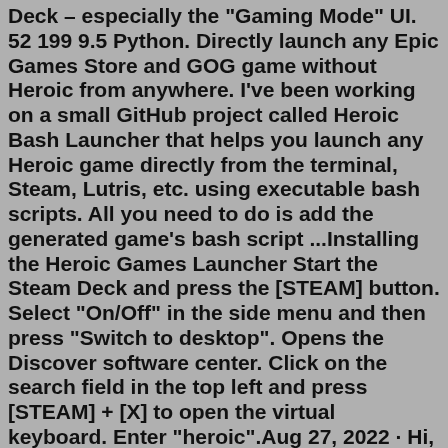Deck – especially the "Gaming Mode" UI. 52 199 9.5 Python. Directly launch any Epic Games Store and GOG game without Heroic from anywhere. I've been working on a small GitHub project called Heroic Bash Launcher that helps you launch any Heroic game directly from the terminal, Steam, Lutris, etc. using executable bash scripts. All you need to do is add the generated game's bash script ...Installing the Heroic Games Launcher Start the Steam Deck and press the [STEAM] button. Select "On/Off" in the side menu and then press "Switch to desktop". Opens the Discover software center. Click on the search field in the top left and press [STEAM] + [X] to open the virtual keyboard. Enter "heroic".Aug 27, 2022 · Hi, i saw that you can play GOG games through Heroic Launcher, but since my games are DRM free, can i just download them onto the SD and then install them, this way i will have the game .exe available to use in the steam library as a non-steam game? Has anyone tried this before ? Mostly i wanted to play Witcher 3 and Divinity 2. Re-Uploaded to fix my